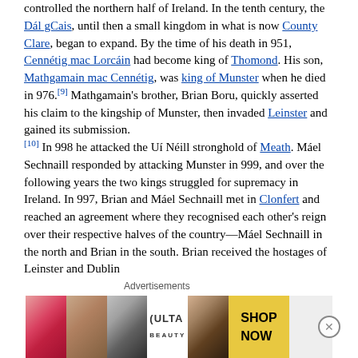controlled the northern half of Ireland. In the tenth century, the Dál gCais, until then a small kingdom in what is now County Clare, began to expand. By the time of his death in 951, Cennétig mac Lorcáin had become king of Thomond. His son, Mathgamain mac Cennétig, was king of Munster when he died in 976.[9] Mathgamain's brother, Brian Boru, quickly asserted his claim to the kingship of Munster, then invaded Leinster and gained its submission.[10] In 998 he attacked the Uí Néill stronghold of Meath. Máel Sechnaill responded by attacking Munster in 999, and over the following years the two kings struggled for supremacy in Ireland. In 997, Brian and Máel Sechnaill met in Clonfert and reached an agreement where they recognised each other's reign over their respective halves of the country—Máel Sechnaill in the north and Brian in the south. Brian received the hostages of Leinster and Dublin
[Figure (other): Advertisement banner for ULTA beauty showing cosmetic images including lips, makeup brush, eye makeup, ULTA logo, and eye close-up with SHOP NOW call to action]